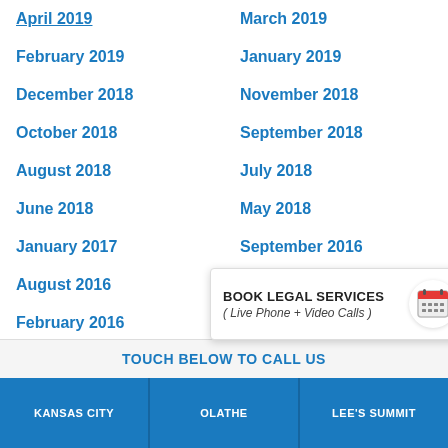April 2019
March 2019
February 2019
January 2019
December 2018
November 2018
October 2018
September 2018
August 2018
July 2018
June 2018
May 2018
January 2017
September 2016
August 2016
June 2016
February 2016
January 2016
December 2015
October 2015
August 2015
[Figure (infographic): Popup overlay with calendar icon: BOOK LEGAL SERVICES ( Live Phone + Video Calls )]
TOUCH BELOW TO CALL US
KANSAS CITY | OLATHE | LEE'S SUMMIT